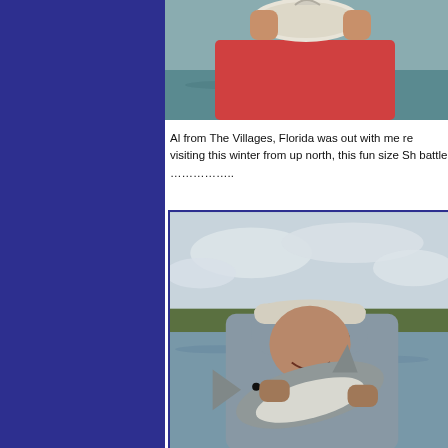[Figure (photo): Close-up photo of a fish being held up, partial view, reddish clothing visible, water in background]
Al from The Villages, Florida was out with me re visiting this winter from up north, this fun size Sh battle ……………..
[Figure (photo): Man wearing a grey hoodie and white baseball cap with sunglasses holding a small shark on a boat, overcast sky and water with mangroves in background]